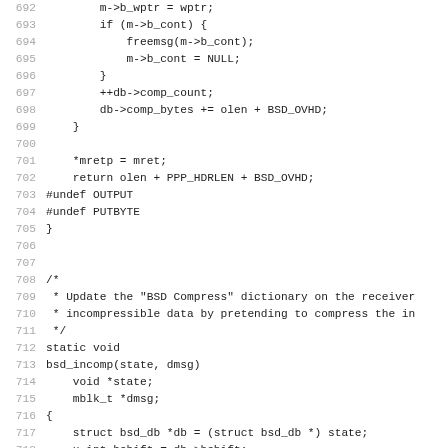[Figure (other): Source code listing in C, lines 692-723, showing BSD compression functions including bsd_incomp. Line numbers shown in grey on left, code in monospace black font on white background.]